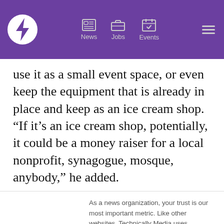[Figure (screenshot): Purple navigation bar with logo (circular lightning bolt), News, Jobs, Events icons, and hamburger menu]
use it as a small event space, or even keep the equipment that is already in place and keep as an ice cream shop. “If it’s an ice cream shop, potentially, it could be a money raiser for a local nonprofit, synagogue, mosque, anybody,” he added.
As a news organization, your trust is our most important metric. Like other websites, Technically Media uses cookies to track the experience of our readers, to better understand usage patterns and content preferences. We will not sell or rent your personal information to third parties. For more information or to contact us, read our entire Ethics & Privacy Policy.
Close